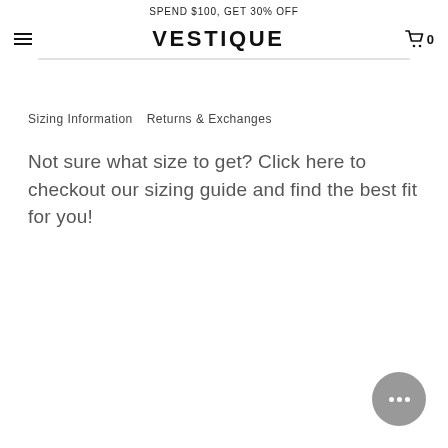SPEND $100, GET 30% OFF
VESTIQUE
Sizing Information    Returns & Exchanges
Not sure what size to get? Click here to checkout our sizing guide and find the best fit for you!